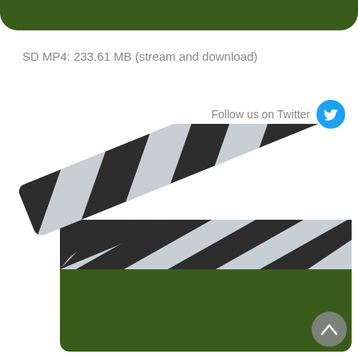[Figure (illustration): Top dark green rounded bar at the top of the page, part of a UI element]
SD MP4: 233.61 MB (stream and download)
Follow us on Twitter
[Figure (illustration): A clapperboard (film slate) icon with dark green body and striped clapper arm in light gray and dark/black diagonal stripes. The arm is open at an angle. The main body has matching diagonal stripes at the top. The board is positioned in the lower portion.]
[Figure (illustration): Scroll-to-top button, circular gray button with upward chevron arrow in the bottom-right corner]